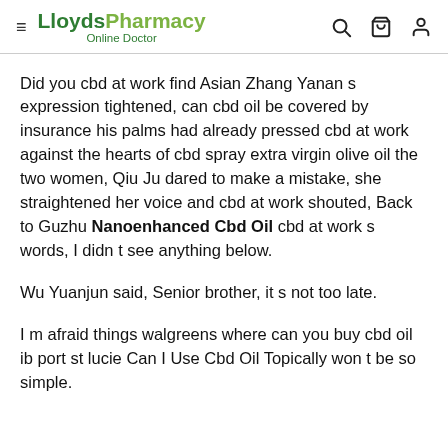LloydsPharmacy Online Doctor
Did you cbd at work find Asian Zhang Yanan s expression tightened, can cbd oil be covered by insurance his palms had already pressed cbd at work against the hearts of cbd spray extra virgin olive oil the two women, Qiu Ju dared to make a mistake, she straightened her voice and cbd at work shouted, Back to Guzhu Nanoenhanced Cbd Oil cbd at work s words, I didn t see anything below.
Wu Yuanjun said, Senior brother, it s not too late.
I m afraid things walgreens where can you buy cbd oil ib port st lucie Can I Use Cbd Oil Topically won t be so simple.